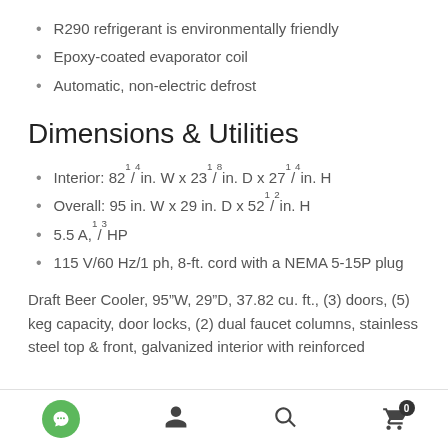R290 refrigerant is environmentally friendly
Epoxy-coated evaporator coil
Automatic, non-electric defrost
Dimensions & Utilities
Interior: 82¹⁄₄ in. W x 23¹⁄₈ in. D x 27¹⁄₄ in. H
Overall: 95 in. W x 29 in. D x 52¹⁄₂ in. H
5.5 A, ¹⁄₃ HP
115 V/60 Hz/1 ph, 8-ft. cord with a NEMA 5-15P plug
Draft Beer Cooler, 95"W, 29"D, 37.82 cu. ft., (3) doors, (5) keg capacity, door locks, (2) dual faucet columns, stainless steel top & front, galvanized interior with reinforced